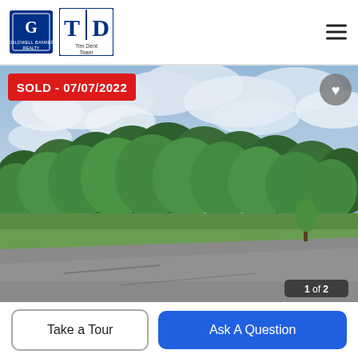Coldwell Banker Realty | Tim Dent Team
[Figure (photo): Outdoor photo of a wooded lot with green trees against a partly cloudy sky, road in foreground. Badge reads SOLD - 07/07/2022. Counter shows 1 of 2.]
Take a Tour
Ask A Question